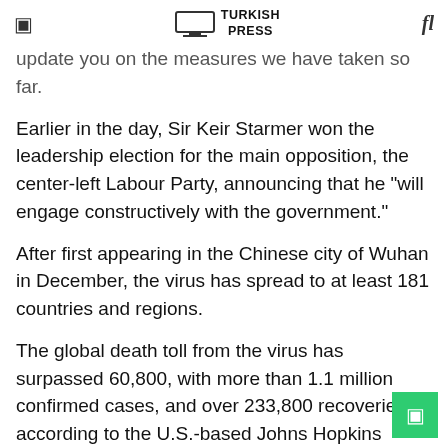TURKISH PRESS
update you on the measures we have taken so far.
Earlier in the day, Sir Keir Starmer won the leadership election for the main opposition, the center-left Labour Party, announcing that he "will engage constructively with the government."
After first appearing in the Chinese city of Wuhan in December, the virus has spread to at least 181 countries and regions.
The global death toll from the virus has surpassed 60,800, with more than 1.1 million confirmed cases, and over 233,800 recoveries, according to the U.S.-based Johns Hopkins University.